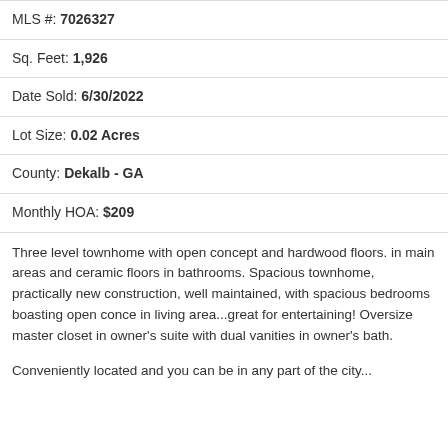MLS #: 7026327
Sq. Feet: 1,926
Date Sold: 6/30/2022
Lot Size: 0.02 Acres
County: Dekalb - GA
Monthly HOA: $209
Three level townhome with open concept and hardwood floors. in main areas and ceramic floors in bathrooms. Spacious townhome, practically new construction, well maintained, with spacious bedrooms boasting open conce in living area...great for entertaining! Oversize master closet in owner's suite with dual vanities in owner's bath.
Conveniently located and you can be in any part of the city...